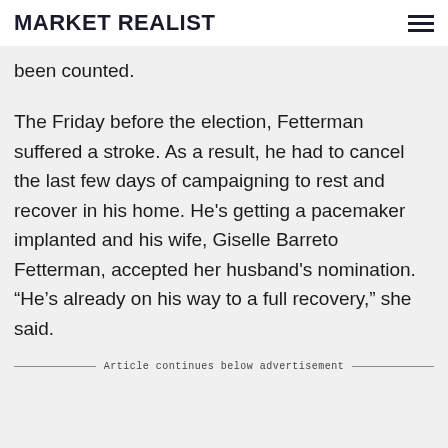MARKET REALIST
been counted.
The Friday before the election, Fetterman suffered a stroke. As a result, he had to cancel the last few days of campaigning to rest and recover in his home. He's getting a pacemaker implanted and his wife, Giselle Barreto Fetterman, accepted her husband's nomination. “He’s already on his way to a full recovery,” she said.
Article continues below advertisement